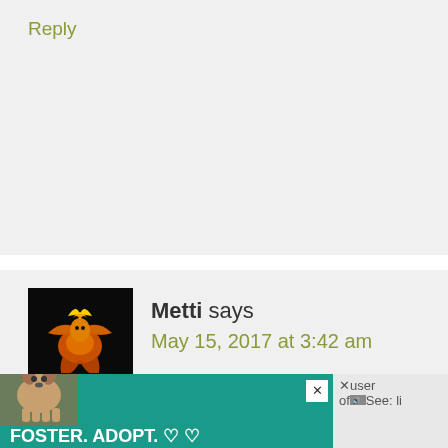Reply
Metti says
May 15, 2017 at 3:42 am

Hi Donna,
Interesting list but seeing exercise first m
Come on we get a work out every mornin
having a wash and getting dressed is an i
That’s without my chronic fatigue or slot
[Figure (infographic): Foster. Adopt. Rescue. Advocate. advertisement with dog image]